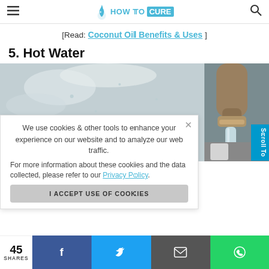HOW TO CURE (logo with navigation)
[Read: Coconut Oil Benefits & Uses ]
5. Hot Water
[Figure (photo): Close-up photo of hot water running from a faucet/tap, with steam visible, showing metal fixtures]
We use cookies & other tools to enhance your experience on our website and to analyze our web traffic.

For more information about these cookies and the data collected, please refer to our Privacy Policy.
I ACCEPT USE OF COOKIES
Scroll To
45 SHARES  [Facebook] [Twitter] [Email] [WhatsApp]